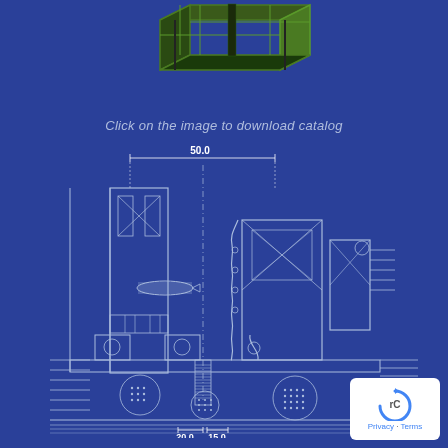[Figure (schematic): 3D isometric view of a window or door frame profile section shown at the top of the page, rendered with green and dark structural elements on blue background]
Click on the image to download catalog
[Figure (engineering-diagram): Technical cross-section blueprint drawing of a window/door frame assembly showing detailed structural profiles, seals, screws, rollers, and dimensions. Dimension line at top shows 50.0 width. Bottom dimensions show 20.0 and 15.0 measurements. White line drawing on blue background.]
[Figure (logo): Google reCAPTCHA badge with Privacy and Terms links in bottom right corner]